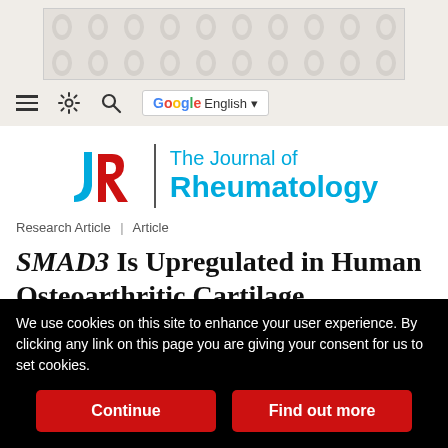[Figure (other): Advertisement placeholder banner with dotted/circle pattern background]
[Figure (other): Navigation bar with hamburger menu, settings gear icon, search icon, and Google Translate button showing English]
[Figure (logo): The Journal of Rheumatology logo with JR monogram in red/blue and journal name in cyan blue text]
Research Article | Article
SMAD3 Is Upregulated in Human Osteoarthritic Cartilage Independent of the Promoter DNA Methylation
We use cookies on this site to enhance your user experience. By clicking any link on this page you are giving your consent for us to set cookies.